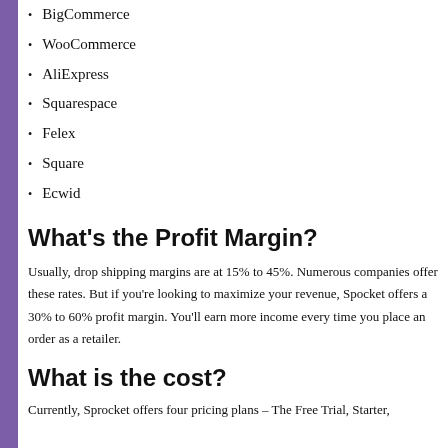BigCommerce
WooCommerce
AliExpress
Squarespace
Felex
Square
Ecwid
What's the Profit Margin?
Usually, drop shipping margins are at 15% to 45%. Numerous companies offer these rates. But if you're looking to maximize your revenue, Spocket offers a 30% to 60% profit margin. You'll earn more income every time you place an order as a retailer.
What is the cost?
Currently, Sprocket offers four pricing plans – The Free Trial, Starter,